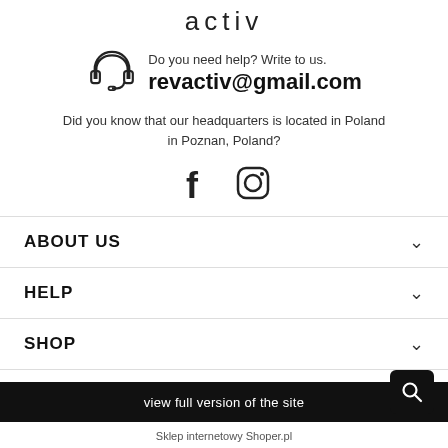activ
Do you need help? Write to us.
revactiv@gmail.com
Did you know that our headquarters is located in Poland in Poznan, Poland?
[Figure (illustration): Social media icons: Facebook (f) and Instagram (camera/circle) icons]
ABOUT US
HELP
SHOP
view full version of the site
Sklep internetowy Shoper.pl